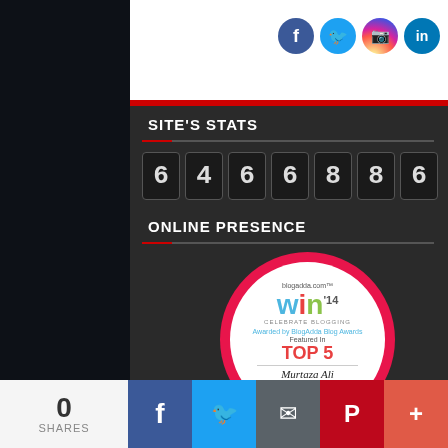[Figure (other): Social media icons: Facebook, Twitter, Instagram, LinkedIn]
SITE'S STATS
[Figure (other): Counter display showing digits: 6 4 6 6 8 8 6]
ONLINE PRESENCE
[Figure (other): BlogAdda.com WIN '14 Celebrate Blogging badge. Awarded by BlogAdda Blog Awards. Featured In TOP 5. Murtaza Ali. BEST ENTERTAINMENT BLOGS IN INDIA]
0 SHARES